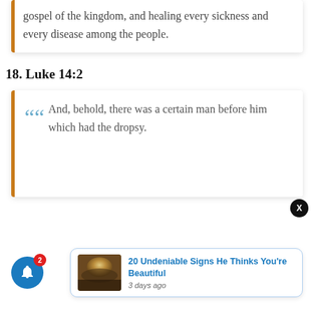gospel of the kingdom, and healing every sickness and every disease among the people.
18. Luke 14:2
And, behold, there was a certain man before him which had the dropsy.
[Figure (screenshot): Notification widget showing article '20 Undeniable Signs He Thinks You're Beautiful' with thumbnail image and '3 days ago' timestamp]